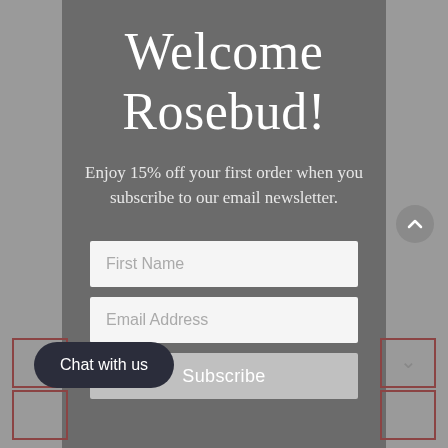Welcome Rosebud!
Enjoy 15% off your first order when you subscribe to our email newsletter.
[Figure (screenshot): Email signup form with First Name and Email Address input fields and a Subscribe button]
Chat with us